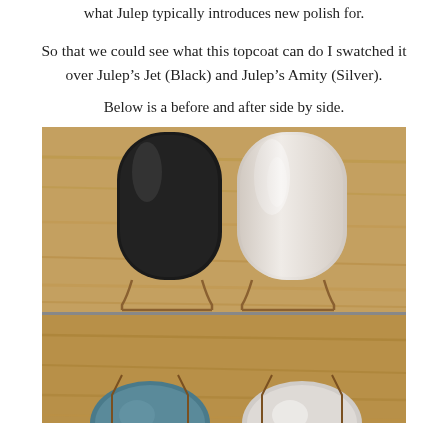what Julep typically introduces new polish for.
So that we could see what this topcoat can do I swatched it over Julep’s Jet (Black) and Julep’s Amity (Silver).
Below is a before and after side by side.
[Figure (photo): Photo showing two nail swatches side by side on a wooden surface: left swatch is black (Julep Jet), right swatch is silver/clear (Julep Amity). Below is a partial second photo showing additional swatches on a similar wooden background.]